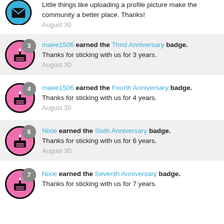Little things like uploading a profile picture make the community a better place. Thanks!
August 30
maee1506 earned the Third Anniversary badge.
Thanks for sticking with us for 3 years.
August 30
maee1506 earned the Fourth Anniversary badge.
Thanks for sticking with us for 4 years.
August 30
Nixie earned the Sixth Anniversary badge.
Thanks for sticking with us for 6 years.
August 30
Nixie earned the Seventh Anniversary badge.
Thanks for sticking with us for 7 years.